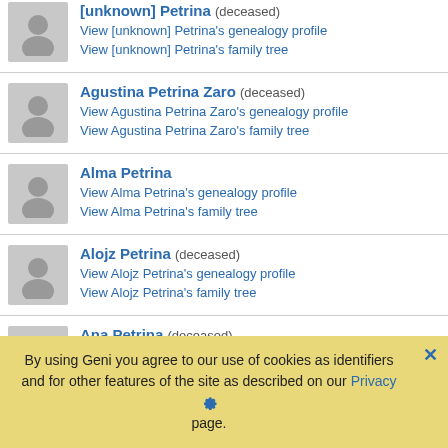[unknown] Petrina (deceased)
View [unknown] Petrina's genealogy profile
View [unknown] Petrina's family tree
Agustina Petrina Zaro (deceased)
View Agustina Petrina Zaro's genealogy profile
View Agustina Petrina Zaro's family tree
Alma Petrina
View Alma Petrina's genealogy profile
View Alma Petrina's family tree
Alojz Petrina (deceased)
View Alojz Petrina's genealogy profile
View Alojz Petrina's family tree
Ana Petrina (deceased)
View Ana Petrina's genealogy profile
View Ana Petrina's family tree
By using Geni you agree to our use of cookies as identifiers and for other features of the site as described on our Privacy page.